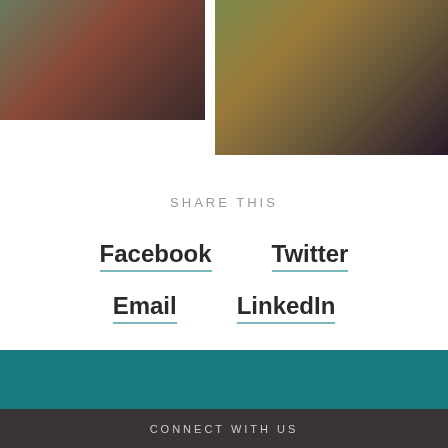[Figure (photo): Two blurred/abstract photo images at the top of the page: left image with dark green and reddish-brown tones, right image with olive-yellow and dark tones]
SHARE THIS
Facebook
Twitter
Email
LinkedIn
[Figure (other): Teal/dark cyan colored bar]
CONNECT WITH US